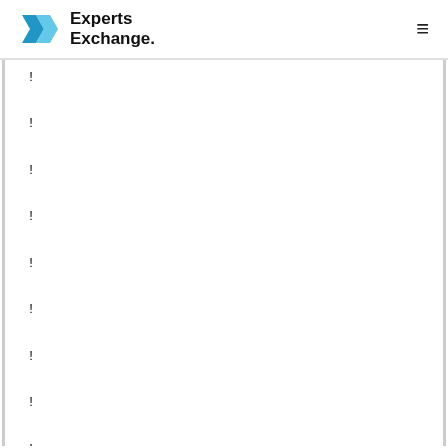Experts Exchange.
!
!
!
!
!
!
!
!
!
interface Port-channel1
description Link to Core
switchport mode trunk
!
interface GigabitEthernet0/0
vrf forwarding Mgmt-vrf